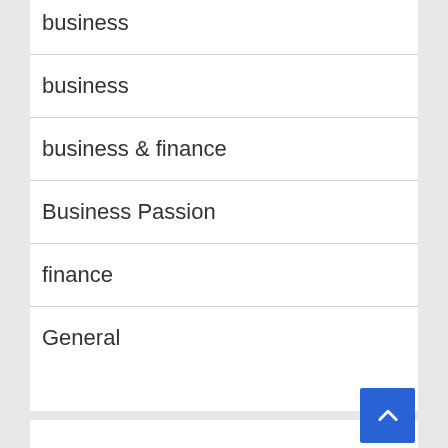business
business
business & finance
Business Passion
finance
General